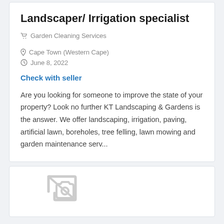Landscaper/ Irrigation specialist
Garden Cleaning Services   Cape Town (Western Cape)
June 8, 2022
Check with seller
Are you looking for someone to improve the state of your property? Look no further KT Landscaping & Gardens is the answer. We offer landscaping, irrigation, paving, artificial lawn, boreholes, tree felling, lawn mowing and garden maintenance serv...
[Figure (illustration): Broken image / no image placeholder icon in light gray]